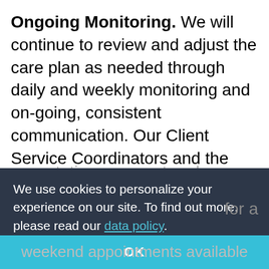Ongoing Monitoring. We will continue to review and adjust the care plan as needed through daily and weekly monitoring and on-going, consistent communication. Our Client Service Coordinators and the owner, Tom, make regularly scheduled and unscheduled field visits to ensure that our at home caregivers are delivering services as we have promised and that the client feels his or her needs and
[Figure (screenshot): Cookie consent overlay banner with dark background (#2d3748) containing text 'We use cookies to personalize your experience on our site. To find out more, please read our data policy.' with a teal OK button bar at the bottom.]